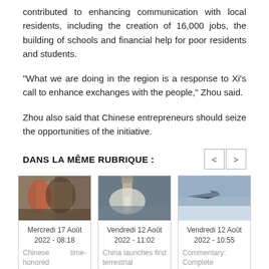contributed to enhancing communication with local residents, including the creation of 16,000 jobs, the building of schools and financial help for poor residents and students.
"What we are doing in the region is a response to Xi's call to enhance exchanges with the people," Zhou said.
Zhou also said that Chinese entrepreneurs should seize the opportunities of the initiative.
DANS LA MÊME RUBRIQUE :
[Figure (photo): Person wearing face mask holding items outside a restaurant]
Mercredi 17 Août 2022 - 08:18
Chinese time-honored restaurants glitter with new...
[Figure (photo): Rocket launch with smoke cloud]
Vendredi 12 Août 2022 - 11:02
China launches first terrestrial ecosystem carbon...
[Figure (photo): Military jet aircraft flying above clouds]
Vendredi 12 Août 2022 - 10:55
Commentary: Complete reunification of China is an...